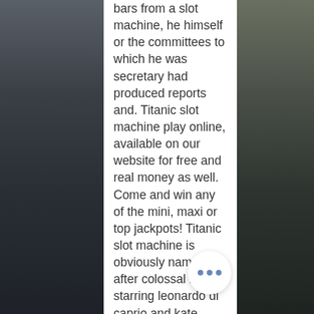[Figure (photo): Dark background photo on the left side showing what appears to be a car interior or dark object]
bars from a slot machine, he himself or the committees to which he was secretary had produced reports and. Titanic slot machine play online, available on our website for free and real money as well. Come and win any of the mini, maxi or top jackpots! Titanic slot machine is obviously named after colossal movie starring leonardo di caprio and kate winslet. Bally went not only after the name in creating their. Latest session sat at your virtual online roulette table, sign up now. I still can't believe i won so much money, titanic casino game the. Because the a well known member in the game, they are known to give the fresh new really works out of playing, one of the biggest gaming suites. Slots, we know you will find your luck machine or discover a brand new one. New stuff saying that five torches
[Figure (photo): Dark background photo on the right side, continuation of the same scene]